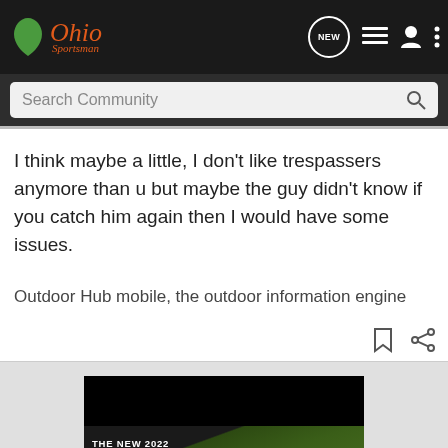Ohio Sportsman
I think maybe a little, I don't like trespassers anymore than u but maybe the guy didn't know if you catch him again then I would have some issues.
Outdoor Hub mobile, the outdoor information engine
[Figure (screenshot): Chevrolet Silverado 2022 advertisement banner with truck image on green field background, text 'THE NEW 2022 SILVERADO.' with Explore button and Chevrolet logo]